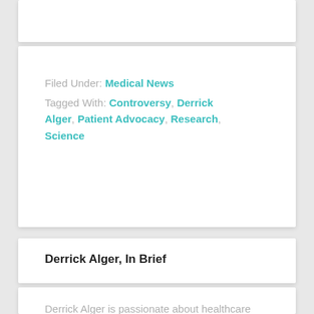Filed Under: Medical News
Tagged With: Controversy, Derrick Alger, Patient Advocacy, Research, Science
Derrick Alger, In Brief
Derrick Alger is passionate about healthcare